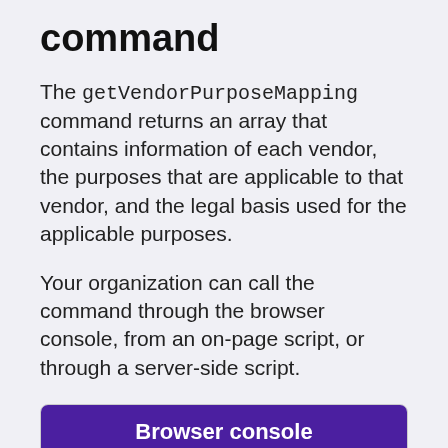command
The getVendorPurposeMapping command returns an array that contains information of each vendor, the purposes that are applicable to that vendor, and the legal basis used for the applicable purposes.
Your organization can call the command through the browser console, from an on-page script, or through a server-side script.
| Browser console |
| --- |
| JavaScript |
| Server-side (PHP) |